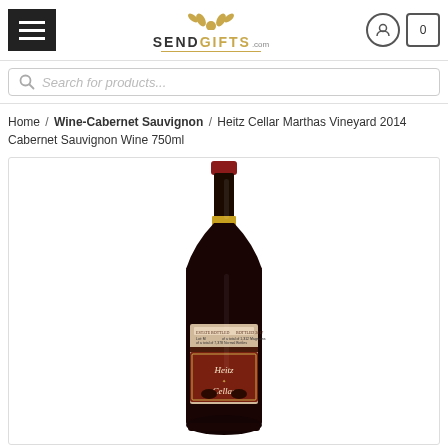[Figure (screenshot): SendGifts.com website header with hamburger menu, logo, user account icon, and cart icon showing 0 items]
[Figure (other): Search bar with placeholder text 'Search for products...']
Home / Wine-Cabernet Sauvignon / Heitz Cellar Marthas Vineyard 2014 Cabernet Sauvignon Wine 750ml
[Figure (photo): Product photo of Heitz Cellar Martha's Vineyard 2014 Cabernet Sauvignon Wine 750ml bottle, showing a dark red wine bottle with gold foil capsule and the Heitz Cellar label]